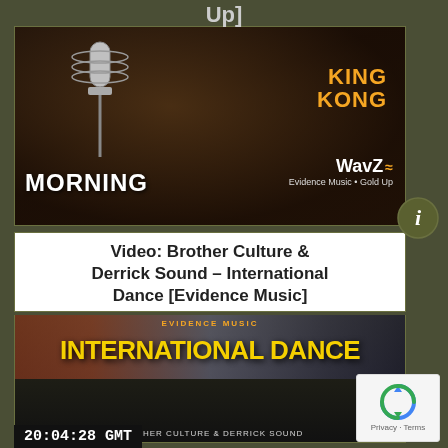Up]
[Figure (photo): Man singing into studio microphone with headphones. Overlay text: MORNING, KING KONG, WavZ, Evidence Music • Gold Up]
Video: Brother Culture & Derrick Sound – International Dance [Evidence Music]
[Figure (photo): Music video thumbnail showing text INTERNATIONAL DANCE in large yellow letters on dark background, with EVIDENCE MUSIC at top and BROTHER CULTURE & DERRICK SOUND at bottom]
20:04:28  GMT